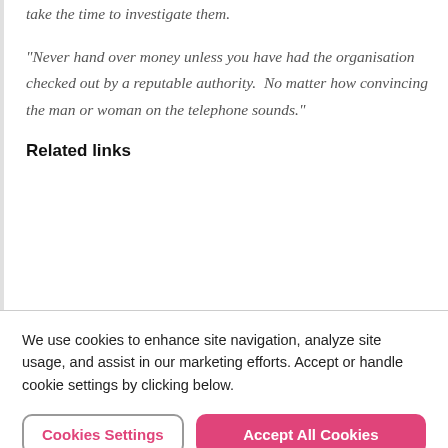take the time to investigate them.
“Never hand over money unless you have had the organisation checked out by a reputable authority.  No matter how convincing the man or woman on the telephone sounds.”
Related links
We use cookies to enhance site navigation, analyze site usage, and assist in our marketing efforts. Accept or handle cookie settings by clicking below.
Cookies Settings | Accept All Cookies